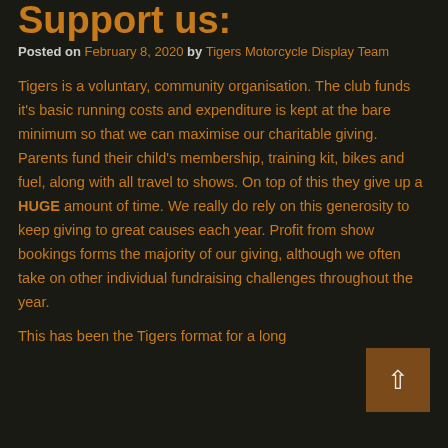Support us:
Posted on February 8, 2020 by Tigers Motorcycle Display Team
Tigers is a voluntary, community organisation. The club funds it's basic running costs and expenditure is kept at the bare minimum so that we can maximise our charitable giving. Parents fund their child's membership, training kit, bikes and fuel, along with all travel to shows. On top of this they give up a HUGE amount of time. We really do rely on this generosity to keep giving to great causes each year. Profit from show bookings forms the majority of our giving, although we often take on other individual fundraising challenges throughout the year.
This has been the Tigers format for a long